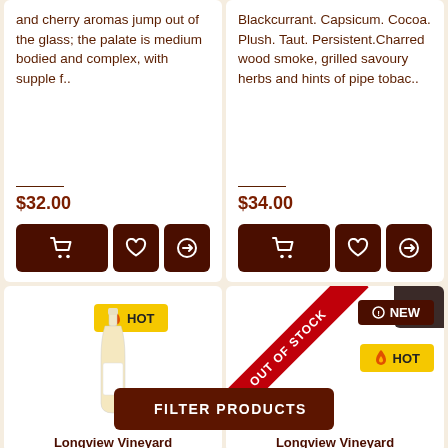and cherry aromas jump out of the glass; the palate is medium bodied and complex, with supple f..
$32.00
Blackcurrant. Capsicum. Cocoa. Plush. Taut. Persistent.Charred wood smoke, grilled savoury herbs and hints of pipe tobac..
$34.00
[Figure (screenshot): Bottom-left wine product card with HOT badge and wine bottle image, labeled Longview Vineyard]
[Figure (screenshot): Bottom-right wine product card with OUT OF STOCK ribbon, NEW and HOT badges, labeled Longview Vineyard]
Longview Vineyard
Longview Vineyard